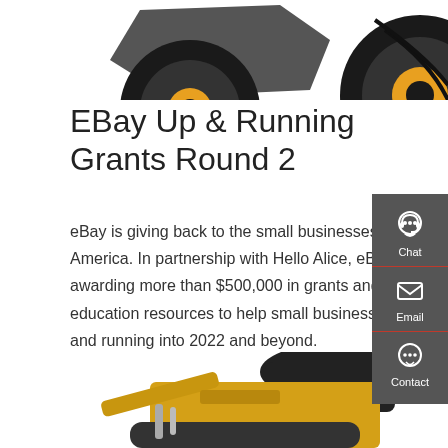[Figure (photo): Partial top view of a construction wheel loader with a bucket and large black tires, cropped at the top of the page]
EBay Up & Running Grants Round 2
eBay is giving back to the small businesses powering America. In partnership with Hello Alice, eBay is awarding more than $500,000 in grants and education resources to help small businesses stay up and running into 2022 and beyond.
[Figure (other): Red 'Get a quote' call-to-action button]
[Figure (other): Right sidebar with Chat, Email, and Contact icons on a dark grey background]
[Figure (photo): Partial bottom view of a yellow mini excavator with a canopy, cropped at the bottom of the page]